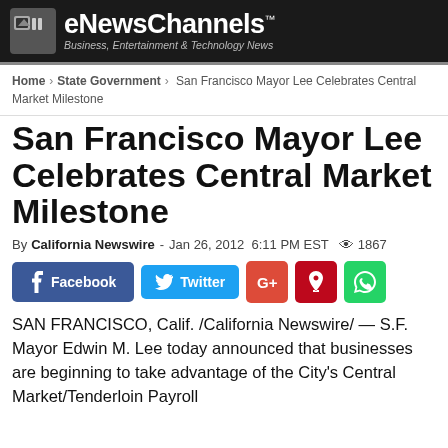eNewsChannels™ — Business, Entertainment & Technology News
Home › State Government › San Francisco Mayor Lee Celebrates Central Market Milestone
San Francisco Mayor Lee Celebrates Central Market Milestone
By California Newswire - Jan 26, 2012  6:11 PM EST  👁 1867
[Figure (infographic): Social sharing buttons: Facebook, Twitter, Google+, Pinterest, WhatsApp]
SAN FRANCISCO, Calif. /California Newswire/ — S.F. Mayor Edwin M. Lee today announced that businesses are beginning to take advantage of the City's Central Market/Tenderloin Payroll